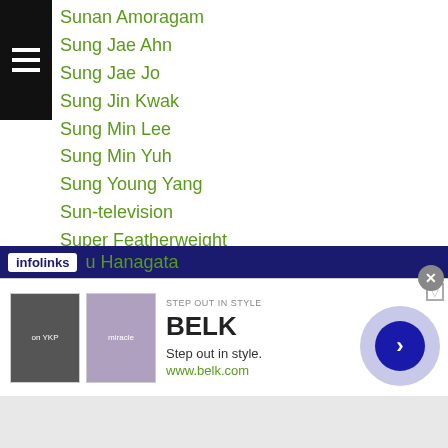Sunan Amoragam
Sung Jae Ahn
Sung Jae Jo
Sung Jin Kwak
Sung Min Lee
Sung Min Yuh
Sung Young Yang
Sun-television
Super Featherweight
Super Flyweight
Super Middleweight
Suriyan Satorn
Suriyan Sor Rungvisai
Suruga Boy
Suspension
u Hanagata
[Figure (screenshot): Infolinks advertisement banner for BELK - Step out in style, www.belk.com]